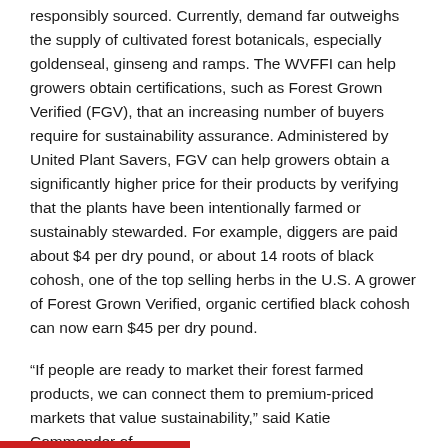responsibly sourced. Currently, demand far outweighs the supply of cultivated forest botanicals, especially goldenseal, ginseng and ramps. The WVFFI can help growers obtain certifications, such as Forest Grown Verified (FGV), that an increasing number of buyers require for sustainability assurance. Administered by United Plant Savers, FGV can help growers obtain a significantly higher price for their products by verifying that the plants have been intentionally farmed or sustainably stewarded. For example, diggers are paid about $4 per dry pound, or about 14 roots of black cohosh, one of the top selling herbs in the U.S. A grower of Forest Grown Verified, organic certified black cohosh can now earn $45 per dry pound.
“If people are ready to market their forest farmed products, we can connect them to premium-priced markets that value sustainability,” said Katie Commender of